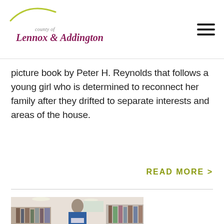county of Lennox & Addington
picture book by Peter H. Reynolds that follows a young girl who is determined to reconnect her family after they drifted to separate interests and areas of the house.
READ MORE >
[Figure (photo): A person wearing a blue jacket and face mask standing in a library between bookshelves, holding a book.]